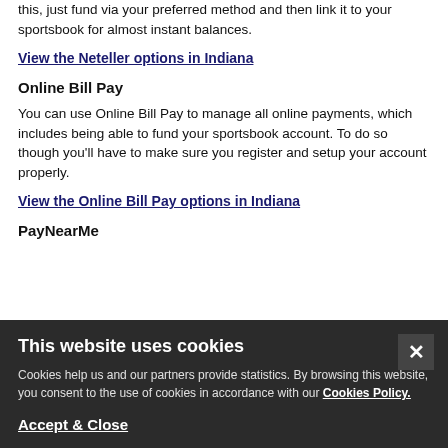this, just fund via your preferred method and then link it to your sportsbook for almost instant balances.
View the Neteller options in Indiana
Online Bill Pay
You can use Online Bill Pay to manage all online payments, which includes being able to fund your sportsbook account. To do so though you'll have to make sure you register and setup your account properly.
View the Online Bill Pay options in Indiana
PayNearMe
This website uses cookies
Cookies help us and our partners provide statistics. By browsing this website, you consent to the use of cookies in accordance with our Cookies Policy.
Accept & Close